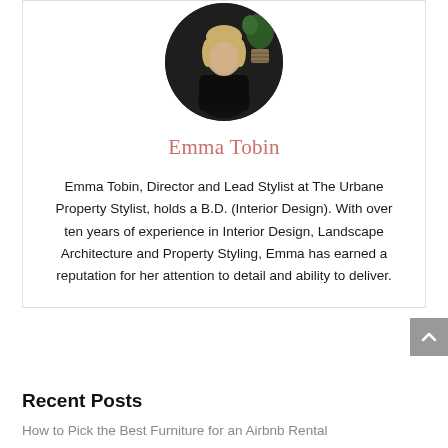[Figure (photo): Oval portrait photo of Emma Tobin, a woman wearing black, seated against a dark background with a plant visible]
Emma Tobin
Emma Tobin, Director and Lead Stylist at The Urbane Property Stylist, holds a B.D. (Interior Design). With over ten years of experience in Interior Design, Landscape Architecture and Property Styling, Emma has earned a reputation for her attention to detail and ability to deliver.
Recent Posts
How to Pick the Best Furniture for an Airbnb Rental
Interior Colour Trends to Look Out for in 2022